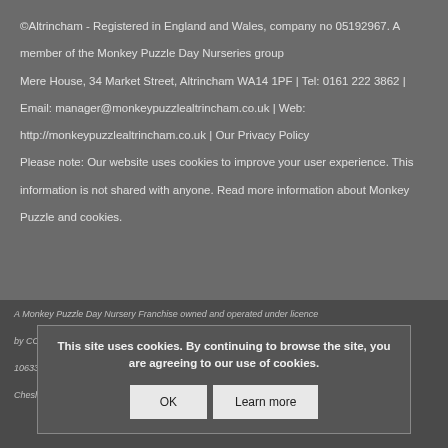©Altrincham - Registered in England and Wales, company no 05192967. A member of the Monkey Puzzle Day Nurseries group
Mere House, 34 Market Street, Altrincham WA14 1PF | Tel: 0161 222 3862 |
Email: manager@monkeypuzzlealtrincham.co.uk | Web:
http://monkeypuzzlealtrincham.co.uk | Our Privacy Policy
Please note: Our website uses cookies to improve your user experience. This information is not shared with anyone. Read more information about Monkey Puzzle and cookies.
A Monkey Puzzle Day Nursery Franchise owned and operated under licence by CC Altrincham Ltd. Registered in England & Wales, Company No. 10633195. Registered Address: Mere House, 34 Market Street, Altrincham, Cheshire WA14 1PF
This site uses cookies. By continuing to browse the site, you are agreeing to our use of cookies.